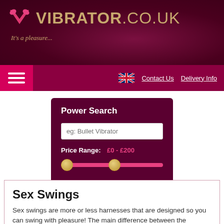VIBRATOR.CO.UK — It's a pleasure...
[Figure (logo): Vibrator.co.uk logo with pink/gold V-bird icon and gold text on dark maroon background]
Contact Us   Delivery Info
[Figure (screenshot): Power Search box with search input placeholder 'eg: Bullet Vibrator', Price Range: £0 - £200 with slider, and SUBMIT button]
Sex Swings
Sex swings are more or less harnesses that are designed so you can swing with pleasure! The main difference between the